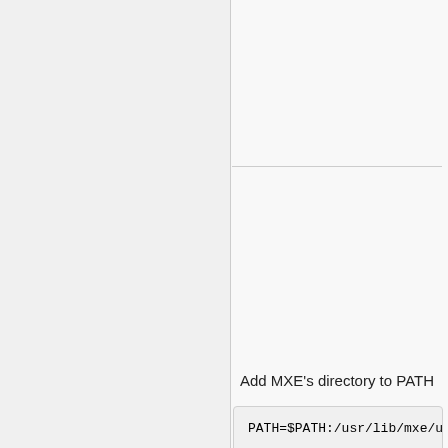[Figure (screenshot): Code block showing: iosdk2.3.zip -P /tmp/ unzip /tmp/asiosdk2.3.zip -d /tmp/ mv /tmp/ASIOSDK2.3 3rdparty/asio]
Export environment variable to tell QMake where MXE's protobuf compiler is
[Figure (screenshot): Code block showing: export MUMBLE_PROTOC=/usr/lib/mxe/... pc-linux-gnu/bin/protoc]
Add MXE's directory to PATH
[Figure (screenshot): Code block showing: PATH=$PATH:/usr/lib/mxe/u...]